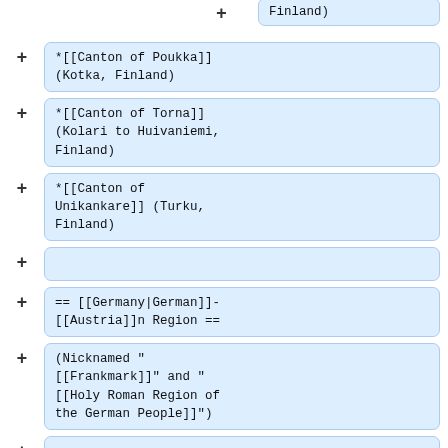Finland)
*[[Canton of Poukka]] (Kotka, Finland)
*[[Canton of Torna]] (Kolari to Huivaniemi, Finland)
*[[Canton of Unikankare]] (Turku, Finland)
== [[Germany|German]]-[[Austria]]n Region ==
(Nicknamed "[[Frankmark]]" and "[[Holy Roman Region of the German People]]")